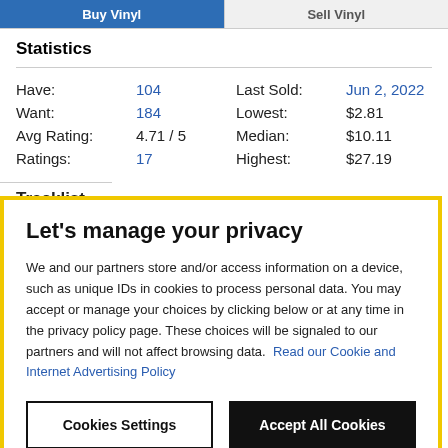| Label | Value | Label | Value |
| --- | --- | --- | --- |
| Have: | 104 | Last Sold: | Jun 2, 2022 |
| Want: | 184 | Lowest: | $2.81 |
| Avg Rating: | 4.71 / 5 | Median: | $10.11 |
| Ratings: | 17 | Highest: | $27.19 |
Tracklist
Let's manage your privacy
We and our partners store and/or access information on a device, such as unique IDs in cookies to process personal data. You may accept or manage your choices by clicking below or at any time in the privacy policy page. These choices will be signaled to our partners and will not affect browsing data. Read our Cookie and Internet Advertising Policy
Cookies Settings
Accept All Cookies